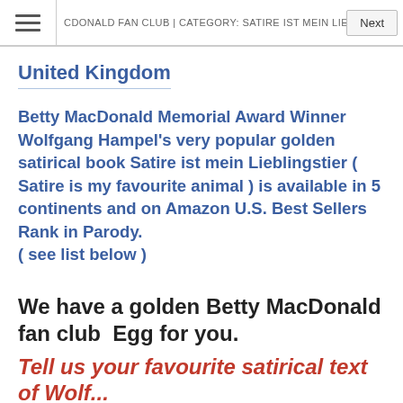MCDONALD FAN CLUB | CATEGORY: SATIRE IST MEIN LIEBLINGSTIER
United Kingdom
Betty MacDonald Memorial Award Winner Wolfgang Hampel's very popular golden satirical book Satire ist mein Lieblingstier ( Satire is my favourite animal ) is available in 5 continents and on Amazon U.S. Best Sellers Rank in Parody.
( see list below )
We have a golden Betty MacDonald fan club  Egg for you.
Tell us your favourite satirical text of Wolfgang...